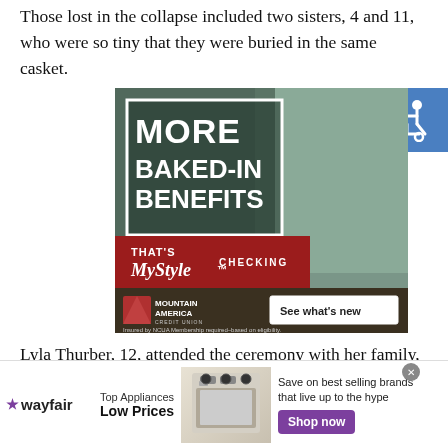Those lost in the collapse included two sisters, 4 and 11, who were so tiny that they were buried in the same casket.
[Figure (photo): Mountain America Credit Union advertisement featuring a smiling blonde woman in a kitchen. Text reads: MORE BAKED-IN BENEFITS, THAT'S MyStyle CHECKING, See what's new. Insured by NCUA. Membership required–based on eligibility.]
[Figure (illustration): Accessibility icon - white wheelchair symbol on blue background]
Lyla Thurber, 12, attended the ceremony with her family, who wore white T-shirts with photos of the young sisters with their
[Figure (photo): Wayfair advertisement: Top Appliances Low Prices. Save on best selling brands that live up to the hype. Shop now button. Shows a kitchen appliance.]